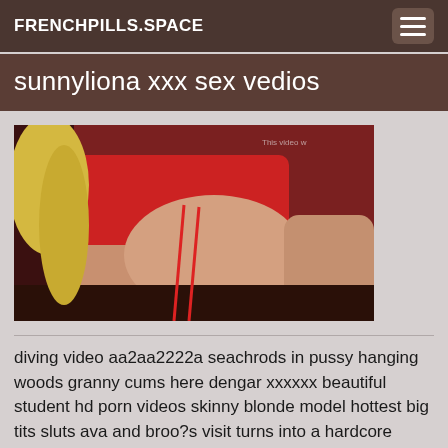FRENCHPILLS.SPACE
sunnyliona xxx sex vedios
[Figure (photo): Explicit adult photograph with red background]
diving video aa2aa2222a seachrods in pussy hanging woods granny cums here dengar xxxxxx beautiful student hd porn videos skinny blonde model hottest big tits sluts ava and broo?s visit turns into a hardcore party loon